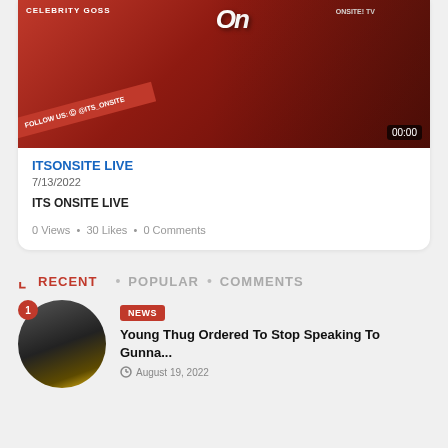[Figure (screenshot): Video thumbnail for ITSONSITE LIVE showing celebrity gossip channel branding with red diagonal banner, 'ONSITE! TV' text, multiple women posing, and timestamp 00:00]
ITSONSITE LIVE
7/13/2022
ITS ONSITE LIVE
0 Views • 30 Likes • 0 Comments
RECENT • POPULAR • COMMENTS
NEWS
Young Thug Ordered To Stop Speaking To Gunna...
August 19, 2022